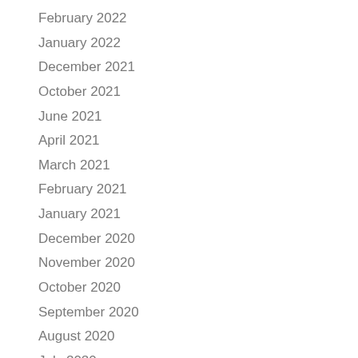February 2022
January 2022
December 2021
October 2021
June 2021
April 2021
March 2021
February 2021
January 2021
December 2020
November 2020
October 2020
September 2020
August 2020
July 2020